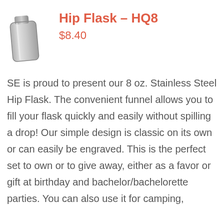[Figure (photo): Product photo of a stainless steel hip flask, silver/grey metallic finish, shown at an angle]
Hip Flask – HQ8
$8.40
SE is proud to present our 8 oz. Stainless Steel Hip Flask. The convenient funnel allows you to fill your flask quickly and easily without spilling a drop! Our simple design is classic on its own or can easily be engraved. This is the perfect set to own or to give away, either as a favor or gift at birthday and bachelor/bachelorette parties. You can also use it for camping,